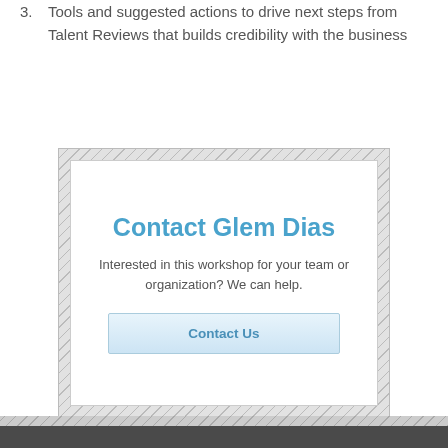3. Tools and suggested actions to drive next steps from Talent Reviews that builds credibility with the business
[Figure (infographic): Contact box with hatched border frame containing white inner box with title 'Contact Glem Dias', descriptive text, and a 'Contact Us' button]
Contact Glem Dias
Interested in this workshop for your team or organization? We can help.